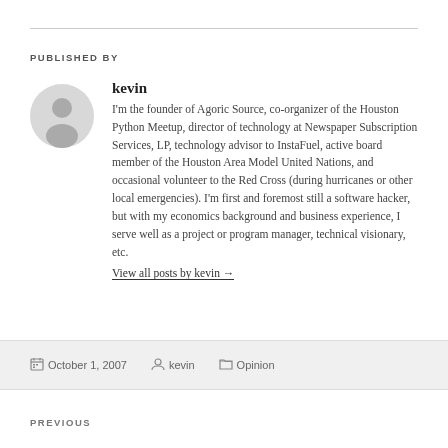PUBLISHED BY
kevin
I'm the founder of Agoric Source, co-organizer of the Houston Python Meetup, director of technology at Newspaper Subscription Services, LP, technology advisor to InstaFuel, active board member of the Houston Area Model United Nations, and occasional volunteer to the Red Cross (during hurricanes or other local emergencies). I'm first and foremost still a software hacker, but with my economics background and business experience, I serve well as a project or program manager, technical visionary, etc.
View all posts by kevin →
October 1, 2007   kevin   Opinion
PREVIOUS